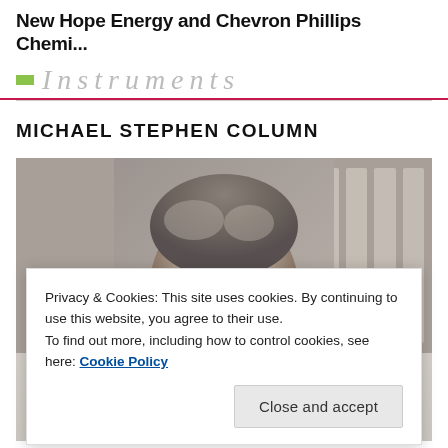New Hope Energy and Chevron Phillips Chemi...
[Figure (logo): Partial logo with green rectangle and italic 'Instruments' text in gray]
MICHAEL STEPHEN COLUMN
[Figure (photo): Photo of an older man with gray hair wearing suspenders and a tie, partially obscured by a cookie consent banner]
Privacy & Cookies: This site uses cookies. By continuing to use this website, you agree to their use.
To find out more, including how to control cookies, see here: Cookie Policy
Close and accept